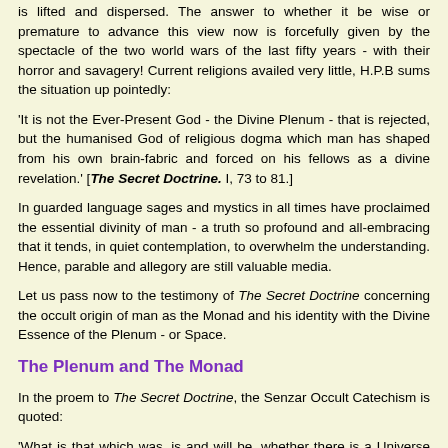is lifted and dispersed. The answer to whether it be wise or premature to advance this view now is forcefully given by the spectacle of the two world wars of the last fifty years - with their horror and savagery! Current religions availed very little, H.P.B sums the situation up pointedly:
'It is not the Ever-Present God - the Divine Plenum - that is rejected, but the humanised God of religious dogma which man has shaped from his own brain-fabric and forced on his fellows as a divine revelation.' [The Secret Doctrine. I, 73 to 81.]
In guarded language sages and mystics in all times have proclaimed the essential divinity of man - a truth so profound and all-embracing that it tends, in quiet contemplation, to overwhelm the understanding. Hence, parable and allegory are still valuable media.
Let us pass now to the testimony of The Secret Doctrine concerning the occult origin of man as the Monad and his identity with the Divine Essence of the Plenum - or Space.
The Plenum and The Monad
In the proem to The Secret Doctrine, the Senzar Occult Catechism is quoted:
'What is that which was, is and will be, whether there is a Universe or not, whether there be Gods or none? The answer is SPACE.' [ ibid., I: 73 to 81.]